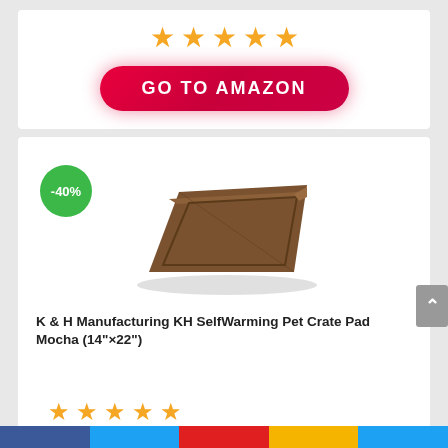[Figure (other): Five orange star rating icons in a row]
[Figure (other): Red pill-shaped button with white text GO TO AMAZON]
[Figure (other): Green circular badge showing -40% discount]
[Figure (photo): Photo of a brown flat pet crate pad/mat viewed from above at an angle]
K & H Manufacturing KH SelfWarming Pet Crate Pad Mocha (14"x22")
[Figure (other): Five orange star rating icons partially visible at bottom of page]